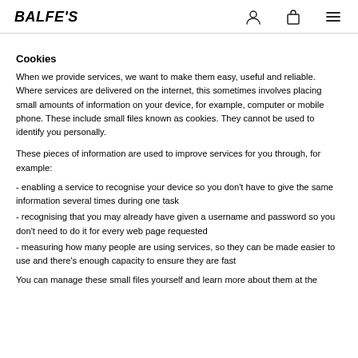BALFE'S [logo with user icon, bag icon, menu icon]
Cookies
When we provide services, we want to make them easy, useful and reliable. Where services are delivered on the internet, this sometimes involves placing small amounts of information on your device, for example, computer or mobile phone. These include small files known as cookies. They cannot be used to identify you personally.
These pieces of information are used to improve services for you through, for example:
- enabling a service to recognise your device so you don't have to give the same information several times during one task
- recognising that you may already have given a username and password so you don't need to do it for every web page requested
- measuring how many people are using services, so they can be made easier to use and there's enough capacity to ensure they are fast
You can manage these small files yourself and learn more about them at the...